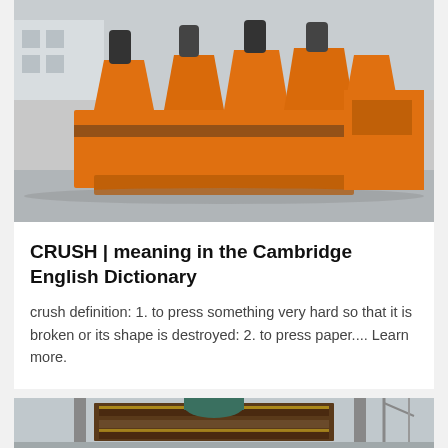[Figure (photo): Large orange industrial crushing/flotation machine equipment photographed outdoors on a concrete surface with a building visible in the background.]
CRUSH | meaning in the Cambridge English Dictionary
crush definition: 1. to press something very hard so that it is broken or its shape is destroyed: 2. to press paper.... Learn more.
[Figure (photo): Partially visible large industrial machinery or conveyor system with a crane visible in the background, photographed outdoors.]